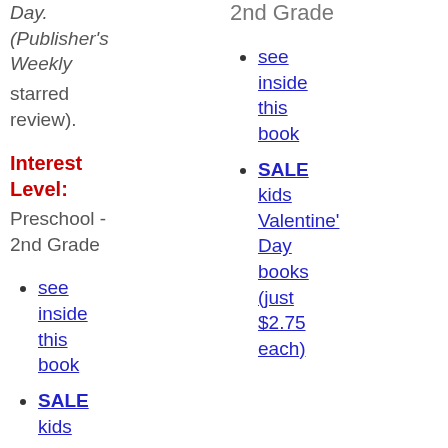Day. (Publisher's Weekly starred review).
Interest Level:
Preschool - 2nd Grade
see inside this book
SALE kids
2nd Grade
see inside this book
SALE kids Valentine's Day books (just $2.75 each)